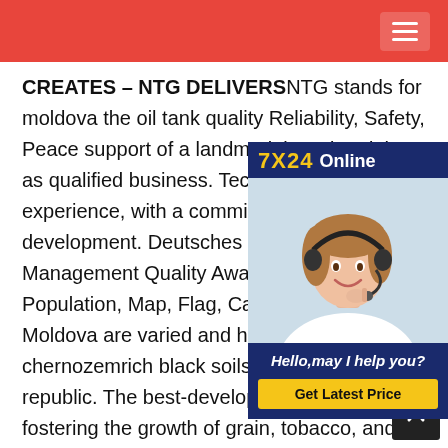CREATES – NTG DELIVERSNTG stands for moldova the oil tank quality Reliability, Safety, Peace support of a landmark brand and the as qualified business. Technical know-how experience, with a commitment to sust development. Deutsches Institut Für Bo Management Quality Award. Moldova H Population, Map, Flag, Capital, & Soils. T Moldova are varied and highly fertile, w chernozemrich black soilscovering three republic. The best-developed chernozem, fostering the growth of grain, tobacco, and sugar beets, is found in the north and in the low-lying parts of the central and Dniester uplands, as well as in the left-bank region quality diminishes southward, but grapes and moldova
[Figure (infographic): 7X24 Online customer support ad with woman wearing headset, Hello may I help you? text and Get Latest Price button]